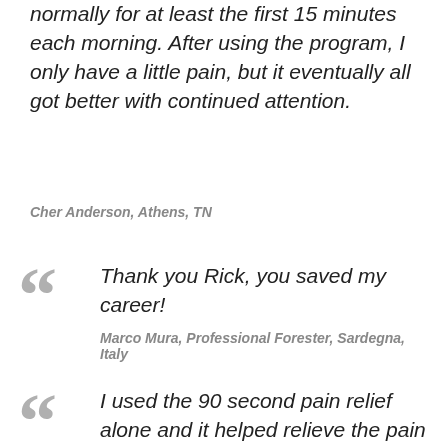normally for at least the first 15 minutes each morning. After using the program, I only have a little pain, but it eventually all got better with continued attention.
Cher Anderson, Athens, TN
Thank you Rick, you saved my career!
Marco Mura, Professional Forester, Sardegna, Italy
I used the 90 second pain relief alone and it helped relieve the pain right away.